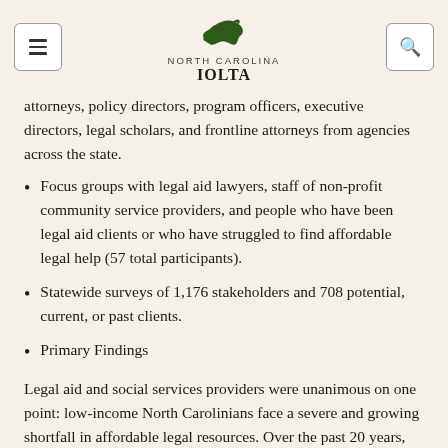NORTH CAROLINA IOLTA
attorneys, policy directors, program officers, executive directors, legal scholars, and frontline attorneys from agencies across the state.
Focus groups with legal aid lawyers, staff of non-profit community service providers, and people who have been legal aid clients or who have struggled to find affordable legal help (57 total participants).
Statewide surveys of 1,176 stakeholders and 708 potential, current, or past clients.
Primary Findings
Legal aid and social services providers were unanimous on one point: low-income North Carolinians face a severe and growing shortfall in affordable legal resources. Over the past 20 years, some of the resources available to serve people in poverty have expanded while others have contracted, but